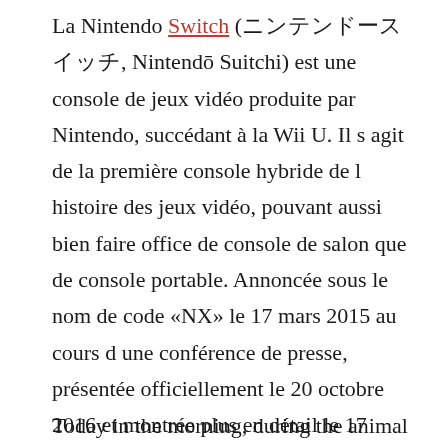La Nintendo Switch (ニンテンドースイッチ, Nintendō Suitchi) est une console de jeux vidéo produite par Nintendo, succédant à la Wii U. Il s agit de la première console hybride de l histoire des jeux vidéo, pouvant aussi bien faire office de console de salon que de console portable. Annoncée sous le nom de code «NX» le 17 mars 2015 au cours d une conférence de presse, présentée officiellement le 20 octobre 2016 et montrée plus en détail le 17 janvier 2017 lors d une présentation en direct, elle est sortie mondialement le 3 mars 2017. Elle se place en concurrence avec la Xbox One puis la Xbox Series de Microsoft et la PlayStation 4 puis la PlayStation 5 de Sony.
Today in the morning, during the animal Crossing